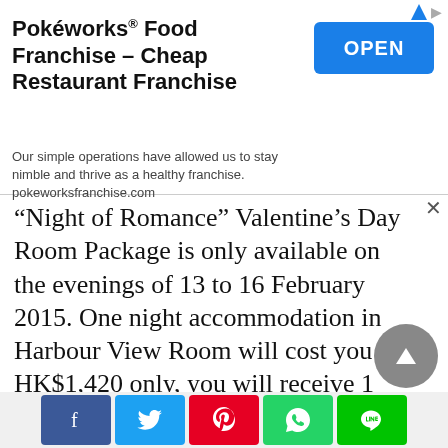[Figure (infographic): Advertisement banner for Pokéworks Food Franchise with blue OPEN button]
“Night of Romance” Valentine’s Day Room Package is only available on the evenings of 13 to 16 February 2015. One night accommodation in Harbour View Room will cost you HK$1,420 only, you will receive 1 bottle of champagne, a heart-shaped cake, Valentine’s Day special gift and enjoy complimentary breakfast buffet for 2 persons on the next day, and you are also entitled to late check-out until 3:00pm (subject to room availability). Furthermore, couples may upgrade to Executive Deluxe Room with a supplement of HK$300 only.
[Figure (infographic): Social sharing bar with Facebook, Twitter, Pinterest, WhatsApp, and LINE buttons]